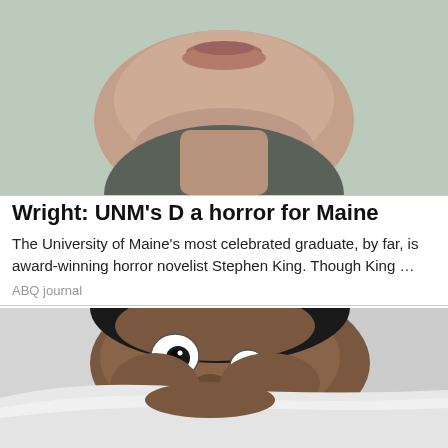[Figure (photo): Close-up photo of a person's lower face and neck, showing lips and chin with a dark collar, against a muted green-gray background.]
Wright: UNM's D a horror for Maine
The University of Maine's most celebrated graduate, by far, is award-winning horror novelist Stephen King. Though King …
ABQ journal
[Figure (photo): Photo of a scared-looking man with wide eyes peeking over a white pillow or blanket, lying down, against gray bedding.]